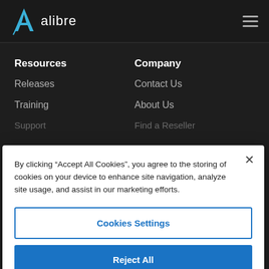[Figure (logo): Alibre logo: stylized blue 'A' icon with 'alibre' wordmark in white text on dark background]
[Figure (other): Hamburger menu icon (three horizontal lines) in gray on dark background]
Resources
Releases
Training
Support
Company
Contact Us
About Us
Find a Reseller
By clicking “Accept All Cookies”, you agree to the storing of cookies on your device to enhance site navigation, analyze site usage, and assist in our marketing efforts.
Cookies Settings
Reject All
Accept All Cookies